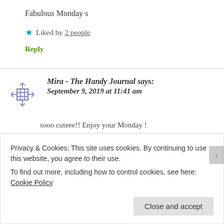Fabulous Monday s
★ Liked by 2 people
Reply
Mira - The Handy Journal says: September 9, 2019 at 11:41 am
sooo cuteee!! Enjoy your Monday !
Privacy & Cookies: This site uses cookies. By continuing to use this website, you agree to their use.
To find out more, including how to control cookies, see here: Cookie Policy